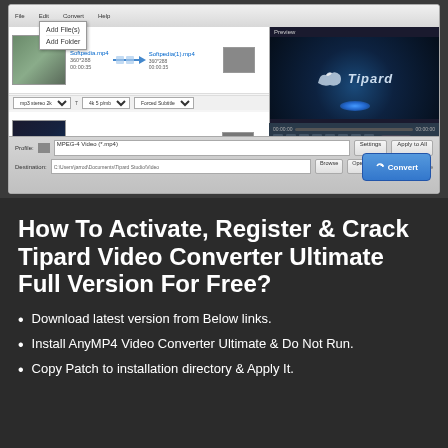[Figure (screenshot): Screenshot of Tipard Video Converter Ultimate software interface showing file list with two video files (Softpedia.mp4 and Softpedia2.avi), conversion arrows, output settings, a preview pane showing the Tipard logo, playback controls, profile selector set to MPEG-4 Video (*.mp4), destination path, and a blue Convert button. A dropdown menu showing 'Add File(s)' and 'Add Folder' is visible at the top.]
How To Activate, Register & Crack Tipard Video Converter Ultimate Full Version For Free?
Download latest version from Below links.
Install AnyMP4 Video Converter Ultimate & Do Not Run.
Copy Patch to installation directory & Apply It.